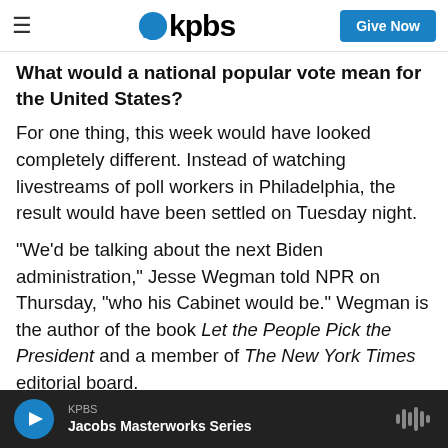KPBS — Give Now
What would a national popular vote mean for the United States?
For one thing, this week would have looked completely different. Instead of watching livestreams of poll workers in Philadelphia, the result would have been settled on Tuesday night.
"We'd be talking about the next Biden administration," Jesse Wegman told NPR on Thursday, "who his Cabinet would be." Wegman is the author of the book Let the People Pick the President and a member of The New York Times editorial board.
KPBS — Jacobs Masterworks Series